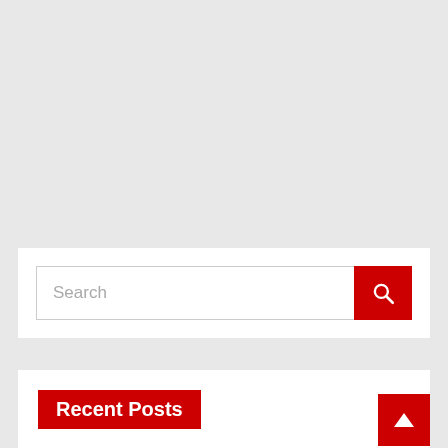[Figure (screenshot): Gray background area at top of page, representing a collapsed/scrolled-past section of a website.]
[Figure (screenshot): Search widget with a text input field containing placeholder text 'Search' and a red search button with a magnifying glass icon.]
Recent Posts
Global Compact Kenya appoints Group